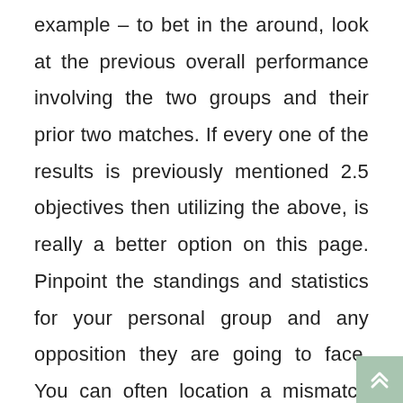example – to bet in the around, look at the previous overall performance involving the two groups and their prior two matches. If every one of the results is previously mentioned 2.5 objectives then utilizing the above, is really a better option on this page. Pinpoint the standings and statistics for your personal group and any opposition they are going to face. You can often location a mismatch from the standings; that is when you will wish to spend shut